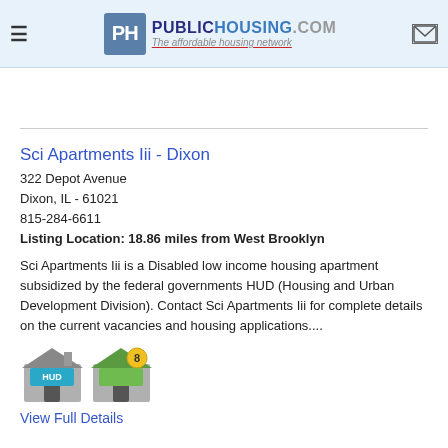PublicHousing.com — The affordable housing network
Sci Apartments Iii - Dixon
322 Depot Avenue
Dixon, IL - 61021
815-284-6611
Listing Location: 18.86 miles from West Brooklyn
Sci Apartments Iii is a Disabled low income housing apartment subsidized by the federal governments HUD (Housing and Urban Development Division). Contact Sci Apartments Iii for complete details on the current vacancies and housing applications....
[Figure (illustration): Two house icons: one grey with HUD label, one grey/green with number 8 badge]
View Full Details